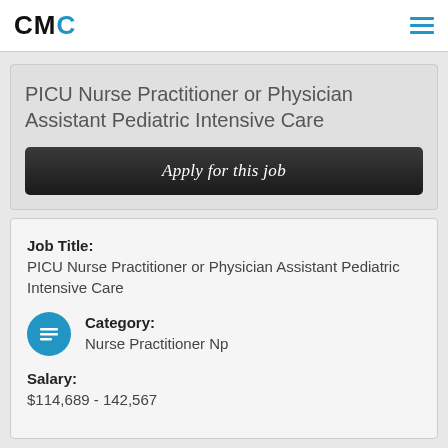CMC
PICU Nurse Practitioner or Physician Assistant Pediatric Intensive Care
Apply for this job
Job Title: PICU Nurse Practitioner or Physician Assistant Pediatric Intensive Care
Category: Nurse Practitioner Np
Salary: $114,689 - 142,567